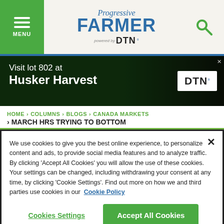Progressive Farmer powered by DTN — MENU / Search
[Figure (other): DTN advertisement banner: Visit lot 802 at Husker Harvest, with DTN logo on white background]
HOME > COLUMNS > BLOGS > CANADA MARKETS > MARCH HRS TRYING TO BOTTOM
We use cookies to give you the best online experience, to personalize content and ads, to provide social media features and to analyze traffic. By clicking 'Accept All Cookies' you will allow the use of these cookies. Your settings can be changed, including withdrawing your consent at any time, by clicking 'Cookie Settings'. Find out more on how we and third parties use cookies in our Cookie Policy
Cookies Settings | Accept All Cookies